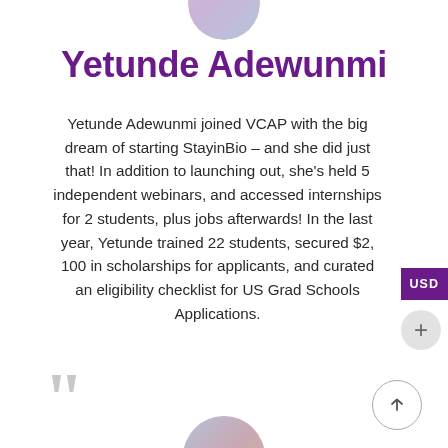[Figure (photo): Circular profile photo of Yetunde Adewunmi, partially cropped at top of page]
Yetunde Adewunmi
Yetunde Adewunmi joined VCAP with the big dream of starting StayinBio – and she did just that! In addition to launching out, she's held 5 independent webinars, and accessed internships for 2 students, plus jobs afterwards! In the last year, Yetunde trained 22 students, secured $2, 100 in scholarships for applicants, and curated an eligibility checklist for US Grad Schools Applications.
[Figure (photo): Circular profile photo partially visible at bottom of page]